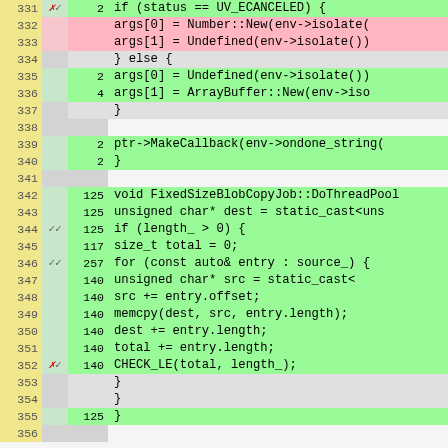[Figure (screenshot): Code coverage view showing C++ source lines 331-356 with line numbers (yellow column), branch markers (gray column with red X or checkmarks), hit counts (gray/green column), and code content (color-coded: green=covered, red=uncovered, gray=not executable). Code shows UV_ECANCELED status check and FixedSizeBlobCopyJob::DoThreadPool function.]